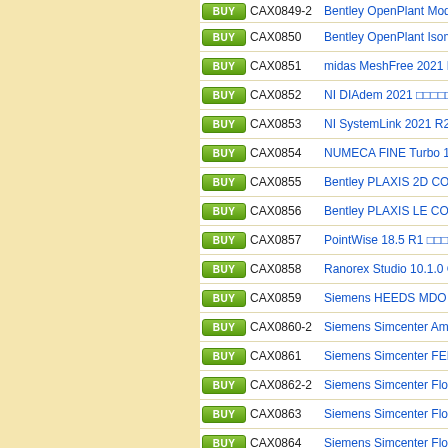| Action | Code | Description |
| --- | --- | --- |
| BUY | CAX0849-2 | Bentley OpenPlant Mode... |
| BUY | CAX0850 | Bentley OpenPlant Isomet... D□) |
| BUY | CAX0851 | midas MeshFree 2021 R1 ... |
| BUY | CAX0852 | NI DIAdem 2021 □□□□□□□□□ |
| BUY | CAX0853 | NI SystemLink 2021 R2 □... |
| BUY | CAX0854 | NUMECA FINE Turbo 16... |
| BUY | CAX0855 | Bentley PLAXIS 2D CON... |
| BUY | CAX0856 | Bentley PLAXIS LE CON... |
| BUY | CAX0857 | PointWise 18.5 R1 □□□□□□□□ |
| BUY | CAX0858 | Ranorex Studio 10.1.0 GU... |
| BUY | CAX0859 | Siemens HEEDS MDO 20... |
| BUY | CAX0860-2 | Siemens Simcenter Amesi... |
| BUY | CAX0861 | Siemens Simcenter FEMA... |
| BUY | CAX0862-2 | Siemens Simcenter FloEFF... |
| BUY | CAX0863 | Siemens Simcenter Floma... |
| BUY | CAX0864 | Siemens Simcenter FloTH... |
| BUY | CAX0865 | Siemens Simcenter FloTH... |
| BUY | CAX0866 | Siemens Simcenter FloTH... |
| BUY | CAX0867 | Siemens Simcenter FloVE... |
| BUY | CAX0868 | Siemens Simcenter MAGN... |